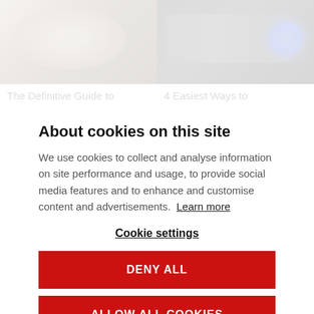[Figure (photo): Two photos side by side at top: left shows a man and woman smiling in a car with keys being handed over; right shows a car dashboard/radio with blue illuminated controls in dark interior]
The Definitive Guide to
4 Easiest Ways to
About cookies on this site
We use cookies to collect and analyse information on site performance and usage, to provide social media features and to enhance and customise content and advertisements. Learn more
Cookie settings
DENY ALL
ALLOW ALL COOKIES